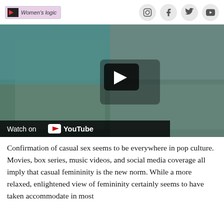Women's logic
[Figure (screenshot): YouTube video thumbnail showing two women, one jumping on a couch and one sitting, with a play button overlay and 'Watch on YouTube' bar at the bottom]
Confirmation of casual sex seems to be everywhere in pop culture. Movies, box series, music videos, and social media coverage all imply that casual femininity is the new norm. While a more relaxed, enlightened view of femininity certainly seems to have taken accommodate in most